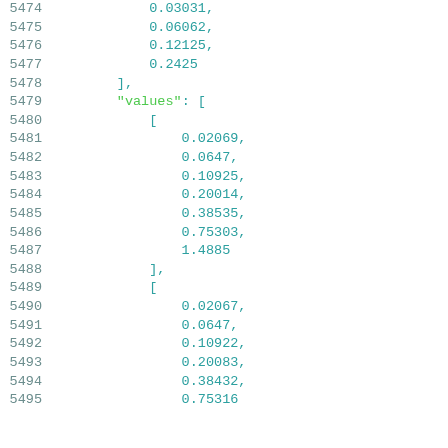Code listing lines 5474-5495 showing numeric array data in JSON/Python format